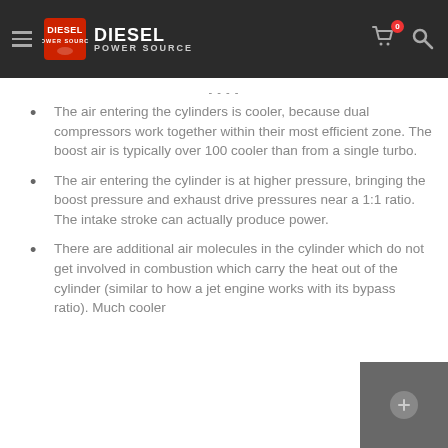Diesel Power Source — navigation header with logo, cart, and search
The air entering the cylinders is cooler, because dual compressors work together within their most efficient zone.  The boost air is typically over 100 cooler than from a single turbo.
The air entering the cylinder is at higher pressure, bringing the boost pressure and exhaust drive pressures near a 1:1 ratio.  The intake stroke can actually produce power.
There are additional air molecules in the cylinder which do not get involved in combustion which carry the heat out of the cylinder (similar to how a jet engine works with its bypass ratio). Much cooler